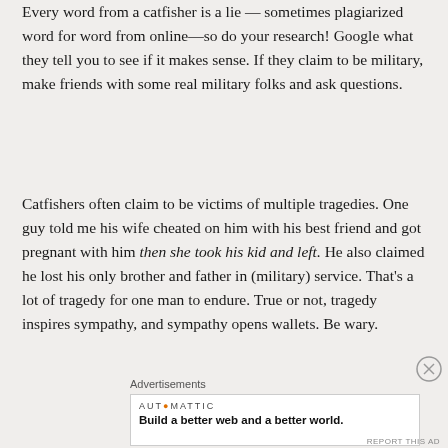Every word from a catfisher is a lie — sometimes plagiarized word for word from online—so do your research! Google what they tell you to see if it makes sense. If they claim to be military, make friends with some real military folks and ask questions.
Catfishers often claim to be victims of multiple tragedies. One guy told me his wife cheated on him with his best friend and got pregnant with him then she took his kid and left. He also claimed he lost his only brother and father in (military) service. That's a lot of tragedy for one man to endure. True or not, tragedy inspires sympathy, and sympathy opens wallets. Be wary.
Advertisements
[Figure (other): Advertisement box with Automattic logo and tagline: Build a better web and a better world.]